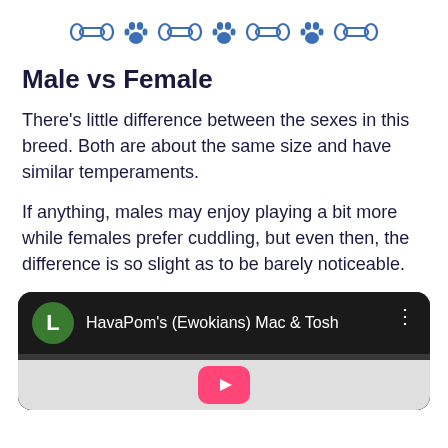[Figure (illustration): Decorative row of alternating dog bone and paw print icons in blue outline style]
Male vs Female
There's little difference between the sexes in this breed. Both are about the same size and have similar temperaments.
If anything, males may enjoy playing a bit more while females prefer cuddling, but even then, the difference is so slight as to be barely noticeable.
[Figure (screenshot): YouTube video thumbnail showing 'HavaPom's (Ewokians) Mac & Tosh' with a green avatar circle with letter L, a dog visible in the thumbnail, and a YouTube play button partially visible at bottom]